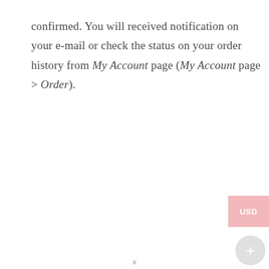confirmed. You will received notification on your e-mail or check the status on your order history from My Account page (My Account page > Order).
[Figure (other): Pink USD currency button widget partially visible at right edge of page]
[Figure (other): Light grey circular plus (+) button widget at right side of page]
x